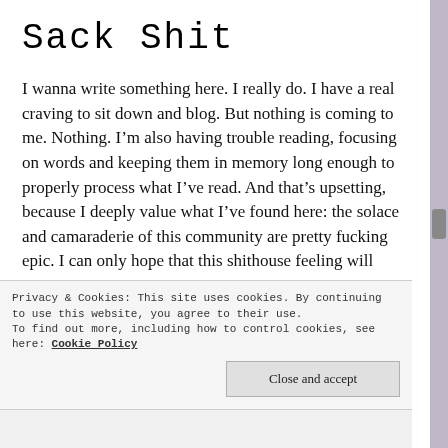Sack Shit
I wanna write something here. I really do. I have a real craving to sit down and blog. But nothing is coming to me. Nothing. I'm also having trouble reading, focusing on words and keeping them in memory long enough to properly process what I've read. And that's upsetting, because I deeply value what I've found here: the solace and camaraderie of this community are pretty fucking epic. I can only hope that this shithouse feeling will pass.
Privacy & Cookies: This site uses cookies. By continuing to use this website, you agree to their use.
To find out more, including how to control cookies, see here: Cookie Policy
Close and accept